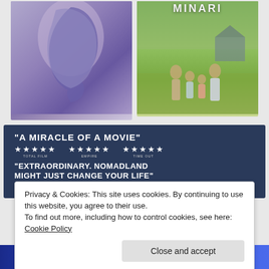[Figure (photo): Movie poster for Ammonite featuring a profile silhouette of a woman with soft purple-blue tones, with Kate Winslet and Saoirse Ronan credited in script font]
[Figure (photo): Movie poster for Minari showing a family of four holding hands in a green field with a barn in the background]
[Figure (photo): Nomadland promotional banner on dark blue background with quote 'A MIRACLE OF A MOVIE' and star ratings from Total Film, Empire, Time Out, plus a second quote 'EXTRAORDINARY. NOMADLAND MIGHT JUST CHANGE YOUR LIFE']
Privacy & Cookies: This site uses cookies. By continuing to use this website, you agree to their use.
To find out more, including how to control cookies, see here: Cookie Policy
Close and accept
[Figure (photo): Bottom strip showing partial Nomadland title text in large white letters on blue gradient background]